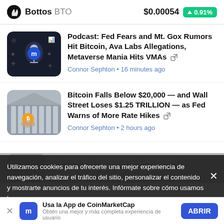Bottos BTO  $0.00054  ▲0.91%
Podcast: Fed Fears and Mt. Gox Rumors Hit Bitcoin, Ava Labs Allegations, Metaverse Mania Hits VMAs
Connor Sephton • 16 minutes ago
Bitcoin Falls Below $20,000 — and Wall Street Loses $1.25 TRILLION — as Fed Warns of More Rate Hikes
Connor Sephton • 2 hours ago
Utilizamos cookies para ofrecerte una mejor experiencia de navegación, analizar el tráfico del sitio, personalizar el contenido y mostrarte anuncios de tu interés. Infórmate sobre cómo usamos las
Usa la App de CoinMarketCap — Obtén una mejor y más completa experiencia de usuario